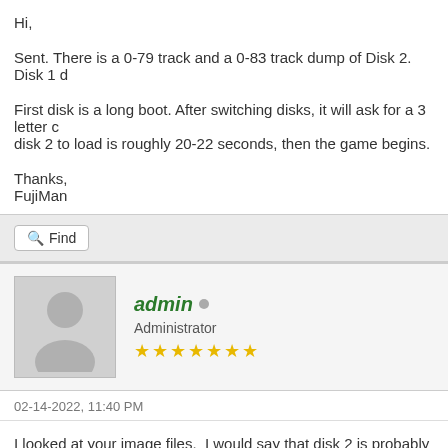Hi,
Sent. There is a 0-79 track and a 0-83 track dump of Disk 2. Disk 1 d
First disk is a long boot. After switching disks, it will ask for a 3 letter c disk 2 to load is roughly 20-22 seconds, then the game begins.
Thanks,
FujiMan
Find
admin • Administrator ★★★★★★★
02-14-2022, 11:40 PM
I looked at your image files.  I would say that disk 2 is probably pretty dirty).